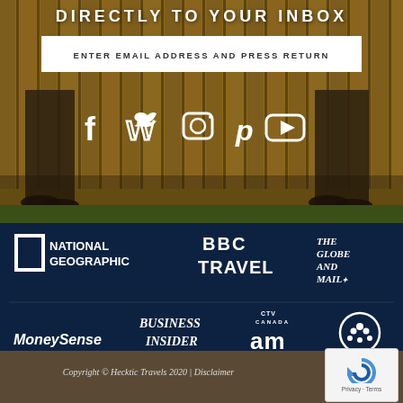[Figure (photo): Background photo of two people walking by a wooden fence, showing their lower bodies from waist down. Grass visible at the bottom.]
DIRECTLY TO YOUR INBOX
ENTER EMAIL ADDRESS AND PRESS RETURN
[Figure (infographic): Social media icons: Facebook (f), Twitter (bird), Instagram (camera), Pinterest (p), YouTube (play button)]
[Figure (infographic): Media logos on dark navy background: National Geographic, BBC Travel, The Globe and Mail, MoneySense, Business Insider, CTV Canada AM, CBC]
Copyright © Hecktic Travels 2020 | Disclaimer
[Figure (other): Google reCAPTCHA widget showing the reCAPTCHA logo (blue C shape) and Privacy · Terms text]